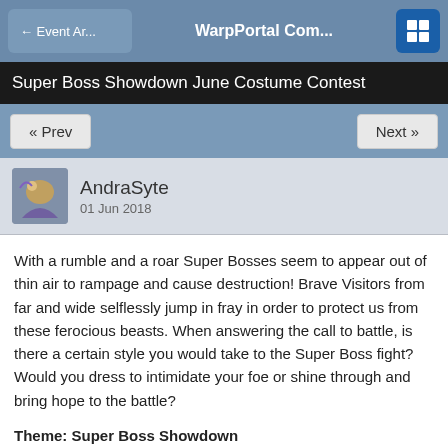← Event Ar...   WarpPortal Com...   [grid]
Super Boss Showdown June Costume Contest
« Prev   Next »
AndraSyte
01 Jun 2018
With a rumble and a roar Super Bosses seem to appear out of thin air to rampage and cause destruction! Brave Visitors from far and wide selflessly jump in fray in order to protect us from these ferocious beasts. When answering the call to battle, is there a certain style you would take to the Super Boss fight? Would you dress to intimidate your foe or shine through and bring hope to the battle?
Theme: Super Boss Showdown
Submissions
Entries can be hand drawn, created with a tablet and image editing software, or created through use of 3D models. If you